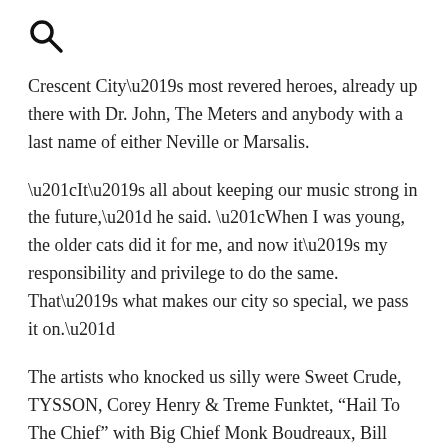[Figure (other): Search icon (magnifying glass)]
Crescent City’s most revered heroes, already up there with Dr. John, The Meters and anybody with a last name of either Neville or Marsalis.
“It’s all about keeping our music strong in the future,” he said. “When I was young, the older cats did it for me, and now it’s my responsibility and privilege to do the same. That’s what makes our city so special, we pass it on.”
The artists who knocked us silly were Sweet Crude, TYSSON, Corey Henry & Treme Funktet, “Hail To The Chief” with Big Chief Monk Boudreaux, Bill Kreutzmann of the Grateful Dead, June Yamagishi, Nick Daniels, Raymond Weber, Kirk Joseph, Davell Crawford and Luther Dickinson of the North Mississippi Allstars. It still did not prepare me for the total onslaught that was Tank & The Bangas. This four-year-old ensemble had me at their first note. Picture a tent revival with a brassy bossy bad-ass bitch of a lead singer known only as Tank leading her funky crew on a